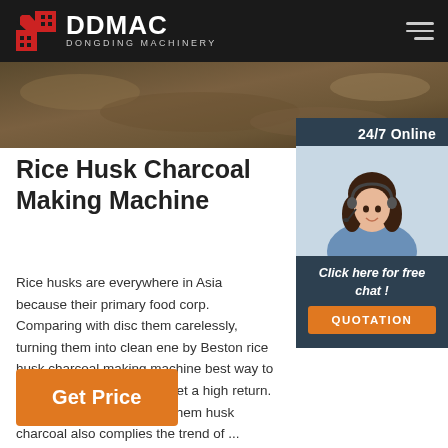DDMAC DONGDING MACHINERY
[Figure (photo): Aerial or landscape photo used as banner image, brownish tones showing textured ground/material]
[Figure (photo): 24/7 Online chat widget panel with photo of a smiling woman wearing a headset, dark blue/slate background. Includes 'Click here for free chat!' text and orange QUOTATION button.]
Rice Husk Charcoal Making Machine
Rice husks are everywhere in Asia because their primary food corp. Comparing with discarding them carelessly, turning them into clean energy by Beston rice husk charcoal making machine is the best way to maximize their value and get a high return. At the same time, making them into rice husk charcoal also complies the trend of ...
Get Price